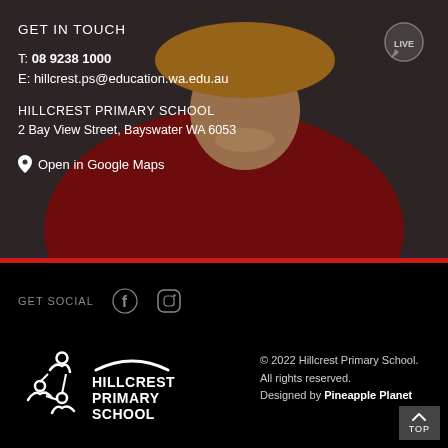[Figure (photo): Background photo of a smiling child wearing a red school uniform and a yellow/orange hat, used as the header background for the contact section.]
GET IN TOUCH
T: 08 9238 1000
E: hillcrest.ps@education.wa.edu.au
HILLCREST PRIMARY SCHOOL
2 Bay View Street, Bayswater WA 6053
Open in Google Maps
GET SOCIAL
[Figure (logo): Hillcrest Primary School logo: white stylized figures icon on the left and arc with HILLCREST PRIMARY SCHOOL text on the right, all white on black background.]
© 2022 Hillcrest Primary School. All rights reserved. Designed by Pineapple Planet